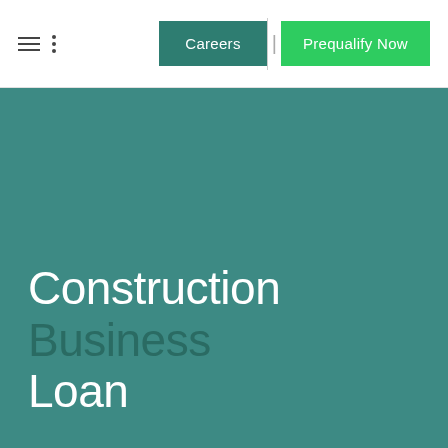Careers | Prequalify Now
[Figure (illustration): Teal/green hero background image for a construction business loan landing page]
Construction Business Loan